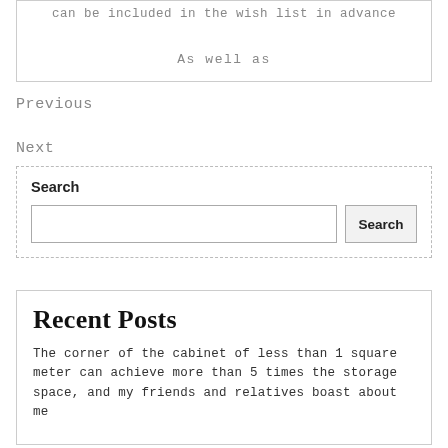can be included in the wish list in advance

As well as
Previous
Next
Search
Recent Posts
The corner of the cabinet of less than 1 square meter can achieve more than 5 times the storage space, and my friends and relatives boast about me